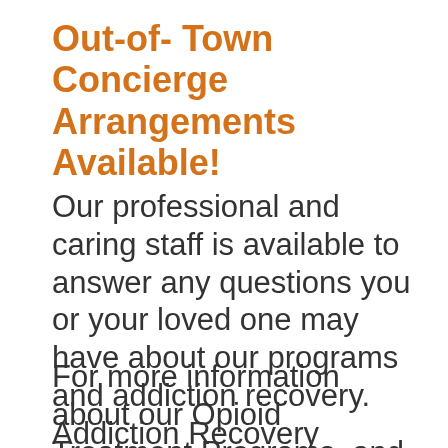Out-of- Town Concierge Arrangements Available!
Our professional and caring staff is available to answer any questions you or your loved one may have about our programs and addiction recovery. Addiction Recovery Centers can help.
For more information about our Opioid Treatment Programs, and to speak to one of our